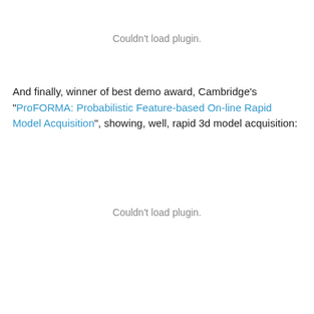[Figure (other): Couldn't load plugin. placeholder for embedded video/plugin]
And finally, winner of best demo award, Cambridge's "ProFORMA: Probabilistic Feature-based On-line Rapid Model Acquisition", showing, well, rapid 3d model acquisition:
[Figure (other): Couldn't load plugin. placeholder for embedded video/plugin]